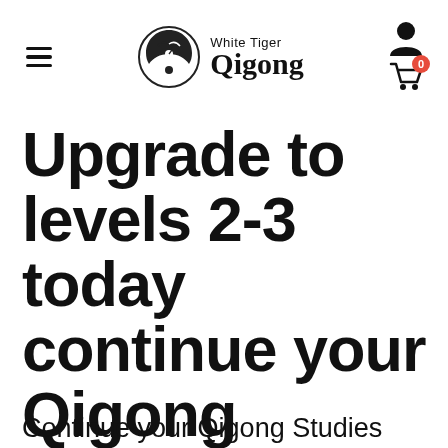White Tiger Qigong — navigation bar with logo, hamburger menu, user icon, and cart
Upgrade to levels 2-3 today continue your Qigong Studies
Continue your Qigong Studies